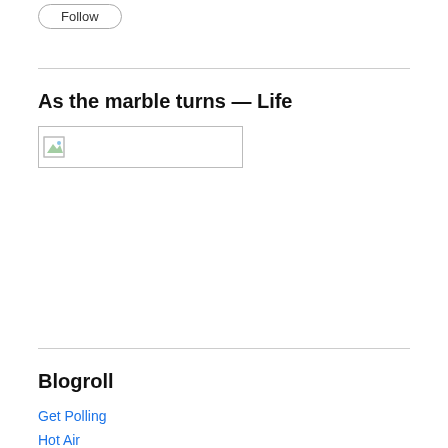Follow
As the marble turns — Life
[Figure (illustration): Broken/placeholder image thumbnail with landscape icon]
Blogroll
Get Polling
Hot Air